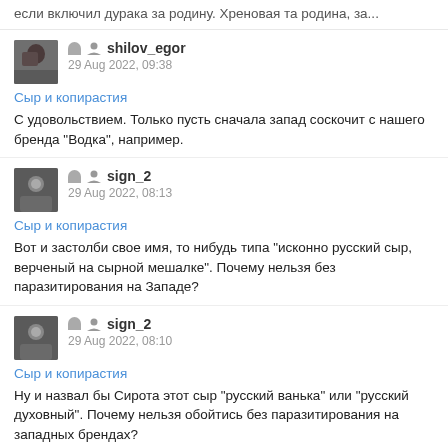если включил дурака за родину. Хреновая та родина, за...
shilov_egor
29 Aug 2022, 09:38
Сыр и копирастия
С удовольствием. Только пусть сначала запад соскочит с нашего бренда "Водка", например.
sign_2
29 Aug 2022, 08:13
Сыр и копирастия
Вот и застолби свое имя, то нибудь типа "исконно русский сыр, верченый на сырной мешалке". Почему нельзя без паразитирования на Западе?
sign_2
29 Aug 2022, 08:10
Сыр и копирастия
Ну и назвал бы Сирота этот сыр "русский ванька" или "русский духовный". Почему нельзя обойтись без паразитирования на западных брендах?